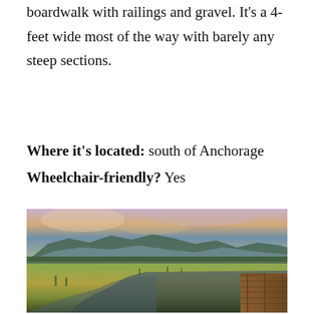boardwalk with railings and gravel. It's a 4-feet wide most of the way with barely any steep sections.
Where it's located: south of Anchorage
Wheelchair-friendly? Yes
[Figure (photo): Scenic landscape photo showing a wooden boardwalk/viewing platform at right, a winding creek through golden-green marsh grass, mountains in the background, and a dramatic sunset sky with purple and orange clouds. Location appears to be near Anchorage, Alaska.]